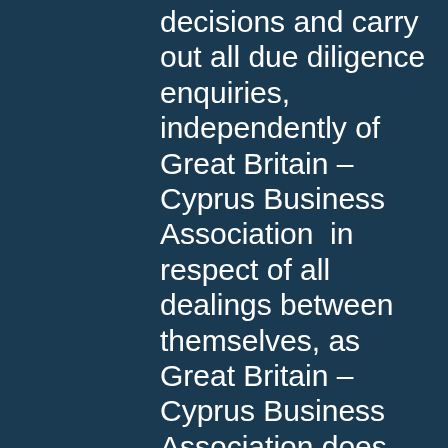decisions and carry out all due diligence enquiries, independently of Great Britain – Cyprus Business Association  in respect of all dealings between themselves, as Great Britain – Cyprus Business Association does not accept any responsibility for any agreement or contract or otherwise carried by any other party (irrespective of whether they are Great Britain – Cyprus Business Association members or not), unless the association has expressly agreed and/or is expressly party to any agreement. It must therefore not be implied or considered that any member of Great Britain – Cyprus Business Association should enter in any agreement with any member simply based on their membership or other association with Great Britain – Cyprus Business